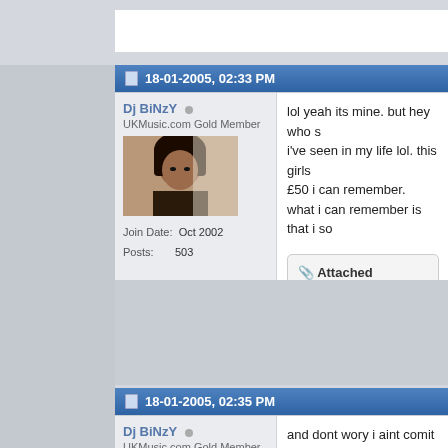18-01-2005, 02:33 PM
Dj BiNzY
UKMusic.com Gold Member
Join Date: Oct 2002
Posts: 503
[Figure (photo): User avatar photo of a woman looking down]
lol yeah its mine. but hey who s... i've seen in my life lol. this girls £50 i can remember. what i can remember is that i so...
Attached Thumbnails
[Figure (photo): Thumbnail photo of a man in a suit with arms crossed]
18-01-2005, 02:35 PM
Dj BiNzY
UKMusic.com Gold Member
[Figure (photo): User avatar photo of a woman looking down]
and dont wory i aint comit no cr... from work, and just got my watc...